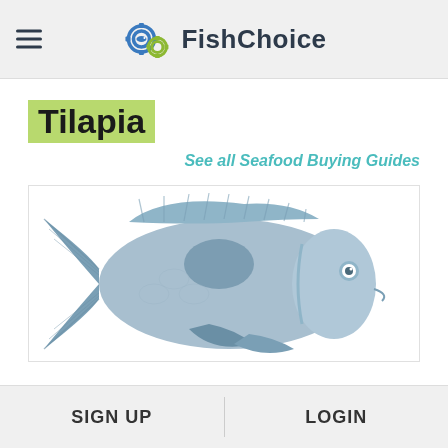FishChoice
Tilapia
See all Seafood Buying Guides
[Figure (illustration): Stylized illustration of a tilapia fish in blue-grey tones on a white background]
SIGN UP   LOGIN